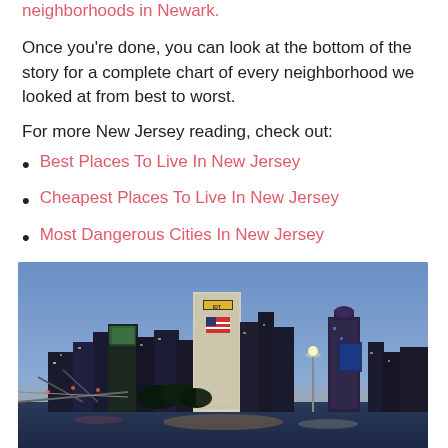neighborhoods in Newark.
Once you're done, you can look at the bottom of the story for a complete chart of every neighborhood we looked at from best to worst.
For more New Jersey reading, check out:
Best Places To Live In New Jersey
Cheapest Places To Live In New Jersey
Most Dangerous Cities In New Jersey
[Figure (photo): Nighttime skyline of Newark, NJ showing city buildings illuminated against a blue dusk sky, with a bridge and waterfront in the foreground. A tall building with IDT signage and an American flag is prominent in the center.]